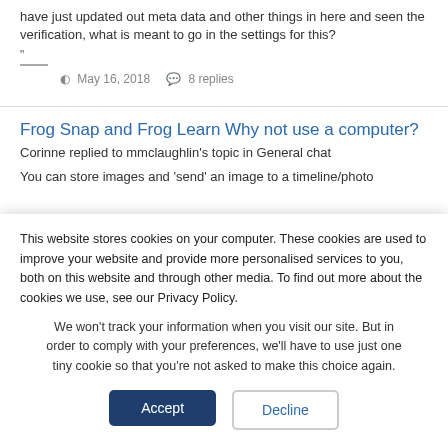have just updated out meta data and other things in here and seen the verification, what is meant to go in the settings for this?
"
May 16, 2018   8 replies
Frog Snap and Frog Learn Why not use a computer?
Corinne replied to mmclaughlin's topic in General chat
You can store images and 'send' an image to a timeline/photo
This website stores cookies on your computer. These cookies are used to improve your website and provide more personalised services to you, both on this website and through other media. To find out more about the cookies we use, see our Privacy Policy.
We won't track your information when you visit our site. But in order to comply with your preferences, we'll have to use just one tiny cookie so that you're not asked to make this choice again.
Accept
Decline